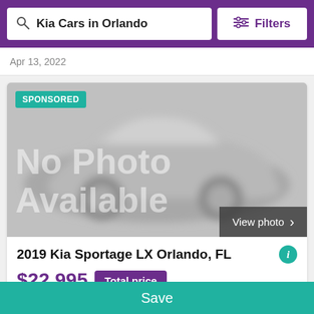Kia Cars in Orlando   Filters
Apr 13, 2022
[Figure (photo): Blurred/placeholder car image with 'No Photo Available' overlay and 'View photo' button. A SPONSORED badge is shown in the top-left.]
2019 Kia Sportage LX Orlando, FL
$22,995   Total price
Save